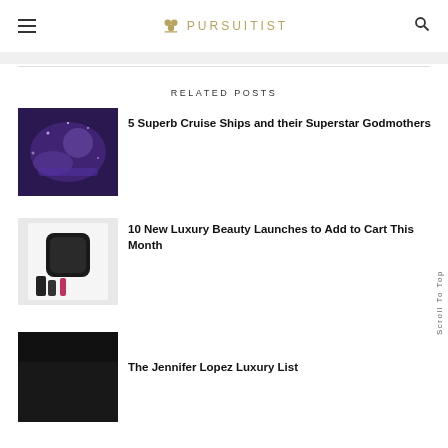PURSUITIST
RELATED POSTS
[Figure (photo): Dark purple/blue abstract image, possibly a cruise ship or galaxy-themed photo]
5 Superb Cruise Ships and their Superstar Godmothers
[Figure (photo): Overhead view of luxury beauty products on a white background, including black makeup items]
10 New Luxury Beauty Launches to Add to Cart This Month
[Figure (photo): Dark, moody photo partially visible at bottom of page]
The Jennifer Lopez Luxury List